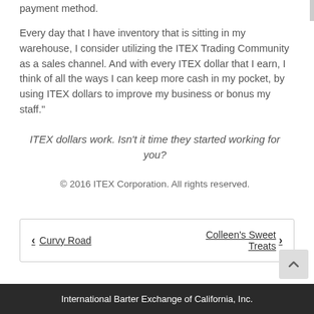payment method.
Every day that I have inventory that is sitting in my warehouse, I consider utilizing the ITEX Trading Community as a sales channel. And with every ITEX dollar that I earn, I think of all the ways I can keep more cash in my pocket, by using ITEX dollars to improve my business or bonus my staff."
ITEX dollars work. Isn't it time they started working for you?
© 2016 ITEX Corporation. All rights reserved.
< Curvy Road
Colleen's Sweet Treats >
International Barter Exchange of California, Inc.